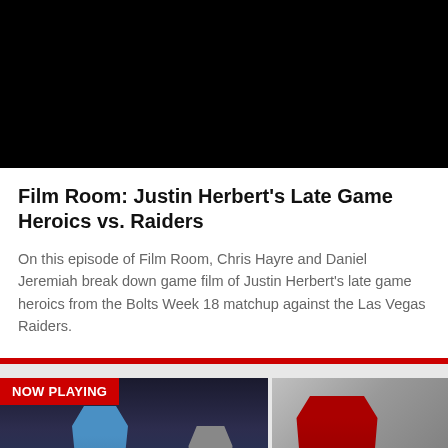[Figure (photo): Black video player area at the top of the page]
Film Room: Justin Herbert's Late Game Heroics vs. Raiders
On this episode of Film Room, Chris Hayre and Daniel Jeremiah break down game film of Justin Herbert's late game heroics from the Bolts Week 18 matchup against the Las Vegas Raiders.
[Figure (photo): NOW PLAYING badge over thumbnail of a Chargers quarterback wearing #10 in a night game, with a second player visible. Partial second thumbnail visible on right showing a 49ers player #97 in red jersey.]